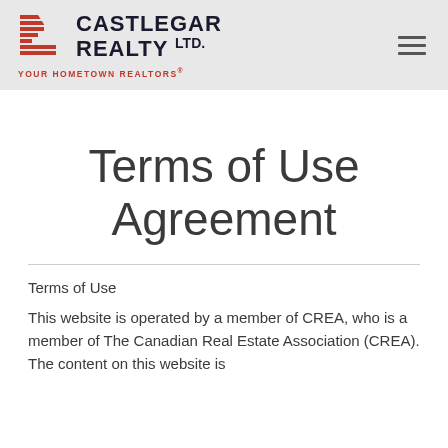[Figure (logo): Castlegar Realty Ltd. logo with red geometric icon, bold text 'CASTLEGAR REALTY LTD.' and tagline 'YOUR HOMETOWN REALTORS®']
Terms of Use Agreement
Terms of Use
This website is operated by a member of CREA, who is a member of The Canadian Real Estate Association (CREA). The content on this website is controlled by CREA. By accessing this